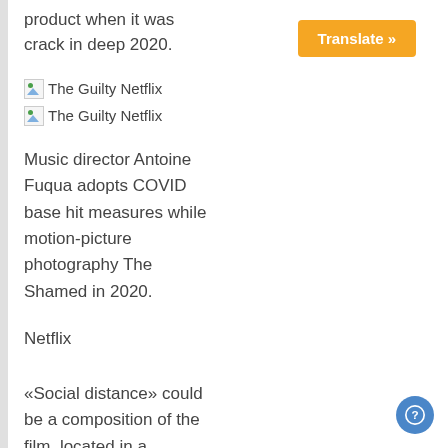product when it was crack in deep 2020.
[Figure (illustration): Two broken image placeholders labeled 'The Guilty Netflix']
Music director Antoine Fuqua adopts COVID base hit measures while motion-picture photography The Shamed in 2020.
Netflix
«Social distance» could be a composition of the film, located in a